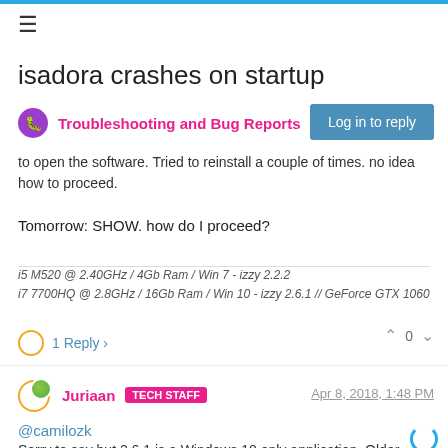isadora crashes on startup
Troubleshooting and Bug Reports
Log in to reply
to open the software. Tried to reinstall a couple of times. no idea how to proceed.
Tomorrow: SHOW. how do I proceed?
i5 M520 @ 2.40GHz / 4Gb Ram / Win 7 - izzy 2.2.2
i7 7700HQ @ 2.8GHz / 16Gb Ram / Win 10 - izzy 2.6.1 // GeForce GTX 1060
1 Reply
0
Juriaan TECH STAFF
Apr 8, 2018, 1:48 PM
@camilozk
Sorry to say but 2.6.1 is a Windows 10 only application. Older